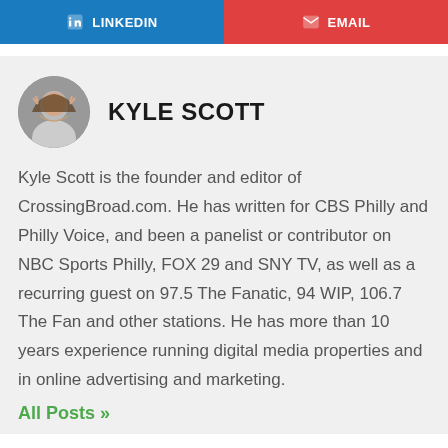[Figure (other): LinkedIn button (blue) on the left and Email button (red) on the right, social sharing buttons]
KYLE SCOTT
Kyle Scott is the founder and editor of CrossingBroad.com. He has written for CBS Philly and Philly Voice, and been a panelist or contributor on NBC Sports Philly, FOX 29 and SNY TV, as well as a recurring guest on 97.5 The Fanatic, 94 WIP, 106.7 The Fan and other stations. He has more than 10 years experience running digital media properties and in online advertising and marketing.
All Posts »